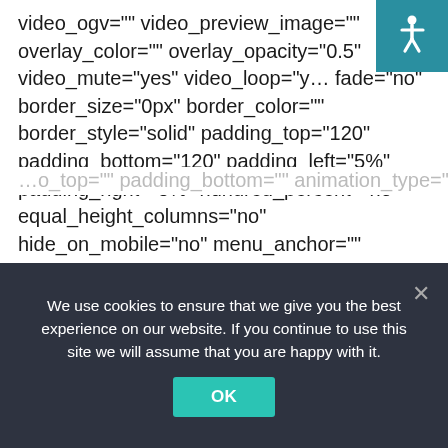video_ogv="" video_preview_image="" overlay_color="" overlay_opacity="0.5" video_mute="yes" video_loop="yes" fade="no" border_size="0px" border_color="" border_style="solid" padding_top="120" padding_bottom="120" padding_left="5%" padding_right="5%" hundred_percent="no" equal_height_columns="no" hide_on_mobile="no" menu_anchor="" class="" id=""][one_fourth last="no" spacing="no" center_content="no" hide_on_mobile="no" background_color="" background_image="" background_repeat="no-repeat" background_position="left top" border_position="all" border_size="0px" border_color="" border_style="solid" padding=""
[Figure (other): Accessibility icon — white wheelchair symbol on teal background, top-right corner]
We use cookies to ensure that we give you the best experience on our website. If you continue to use this site we will assume that you are happy with it.